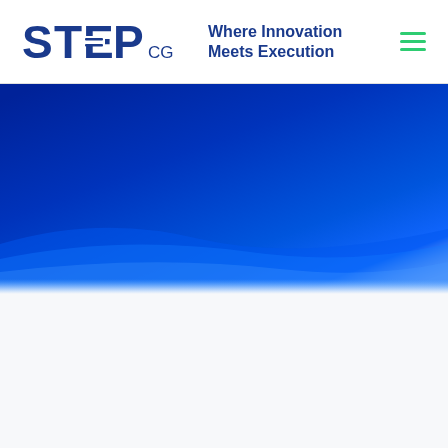STEP CG — Where Innovation Meets Execution
[Figure (illustration): Blue gradient hero banner transitioning from dark navy at top-right to bright blue at bottom-left, fading to white at bottom edge]